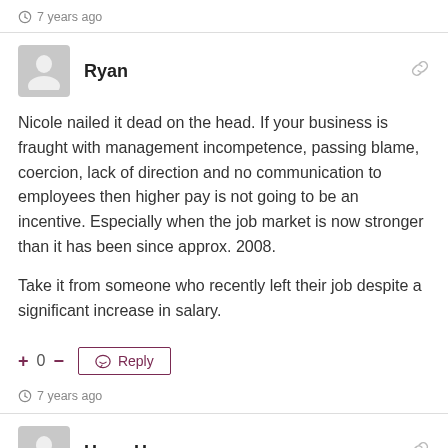7 years ago
Ryan
Nicole nailed it dead on the head. If your business is fraught with management incompetence, passing blame, coercion, lack of direction and no communication to employees then higher pay is not going to be an incentive. Especially when the job market is now stronger than it has been since approx. 2008.

Take it from someone who recently left their job despite a significant increase in salary.
+ 0 – Reply
7 years ago
Hope Hope